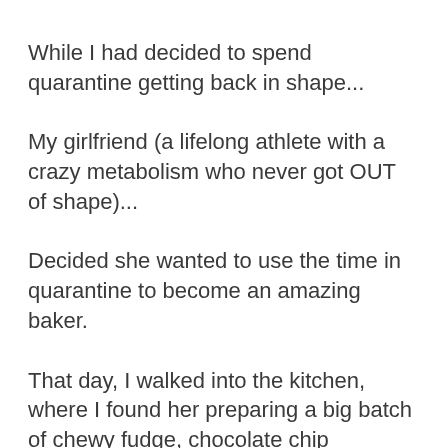While I had decided to spend quarantine getting back in shape...
My girlfriend (a lifelong athlete with a crazy metabolism who never got OUT of shape)...
Decided she wanted to use the time in quarantine to become an amazing baker.
That day, I walked into the kitchen, where I found her preparing a big batch of chewy fudge, chocolate chip brownies.
One turned into two which turned into four.
Which turned into a full-blown cheat meal filled with chocolate ice cream and pepperoni pizza...